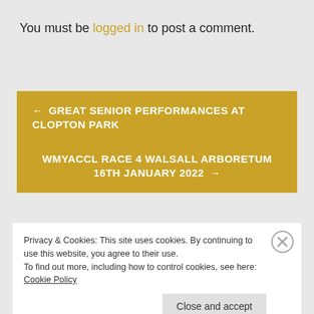You must be logged in to post a comment.
← GREAT SENIOR PERFORMANCES AT CLOPTON PARK
WMYACCL RACE 4 WALSALL ARBORETUM 16TH JANUARY 2022 →
Privacy & Cookies: This site uses cookies. By continuing to use this website, you agree to their use.
To find out more, including how to control cookies, see here: Cookie Policy
Close and accept